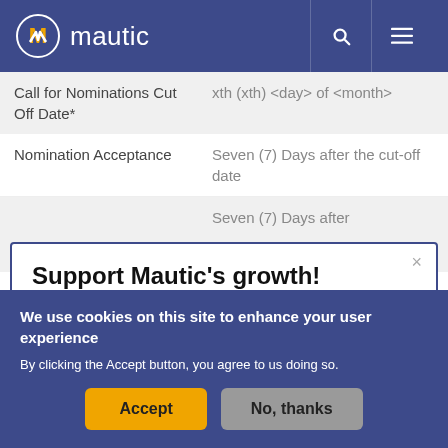mautic
| Call for Nominations Cut Off Date* | xth (xth) <day> of <month> |
| Nomination Acceptance | Seven (7) Days after the cut-off date |
|  | Seven (7) Days after |
Support Mautic's growth!
We use cookies on this site to enhance your user experience
By clicking the Accept button, you agree to us doing so.